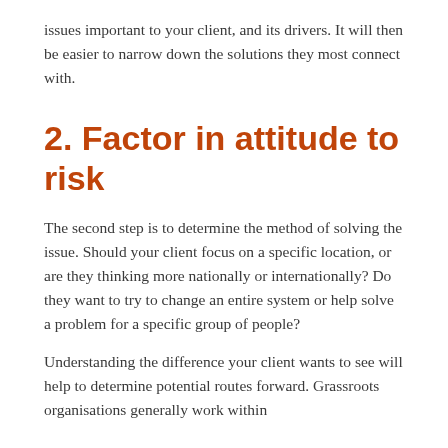issues important to your client, and its drivers. It will then be easier to narrow down the solutions they most connect with.
2. Factor in attitude to risk
The second step is to determine the method of solving the issue. Should your client focus on a specific location, or are they thinking more nationally or internationally? Do they want to try to change an entire system or help solve a problem for a specific group of people?
Understanding the difference your client wants to see will help to determine potential routes forward. Grassroots organisations generally work within